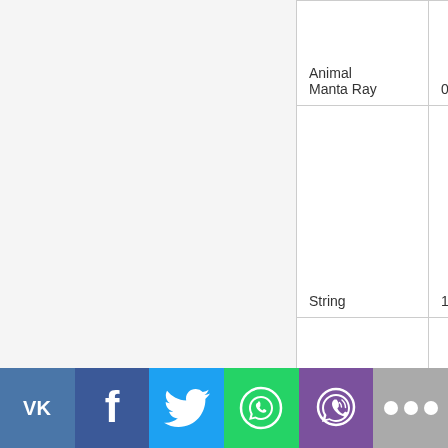| Name | Qty | Image |
| --- | --- | --- |
| Animal Manta Ray | 0 | [image] |
| String | 1 | [image] |
| Animal Sawfish Jaw | 1 | [image] |
| Hook Metal 1 x 4 x 1 | 1 | [image] |
[Figure (infographic): Social sharing bar with VK, Facebook, Twitter, WhatsApp, Viber, and More buttons]